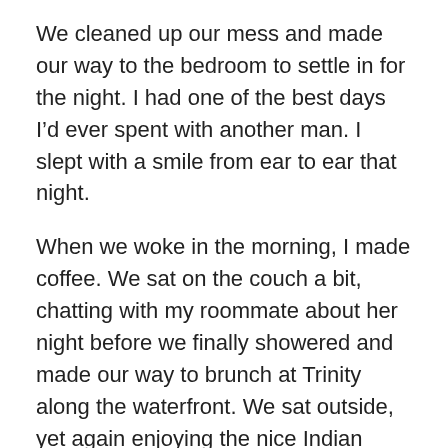We cleaned up our mess and made our way to the bedroom to settle in for the night. I had one of the best days I'd ever spent with another man. I slept with a smile from ear to ear that night.
When we woke in the morning, I made coffee. We sat on the couch a bit, chatting with my roommate about her night before we finally showered and made our way to brunch at Trinity along the waterfront. We sat outside, yet again enjoying the nice Indian Summer we were having. When we finished eating, I walked him to the PATH to head home. Standing in front of the PATH, I kissed him. I'd never kissed a man in broad daylight in Hoboken before — Especially not in one of the busiest intersections in all of Hoboken in front of everyone watching Sunday football at the bar across the street. I was expanding my comfort zone, and certainly for a worthwhile cause.